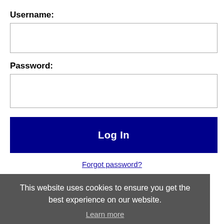Username:
Password:
Log In
Forgot password?
This website uses cookies to ensure you get the best experience on our website.
Learn more
Get the latest Iowa jobs by following @recnetIA on Twitter!
Got it!
Cedar Rapids RSS job feeds